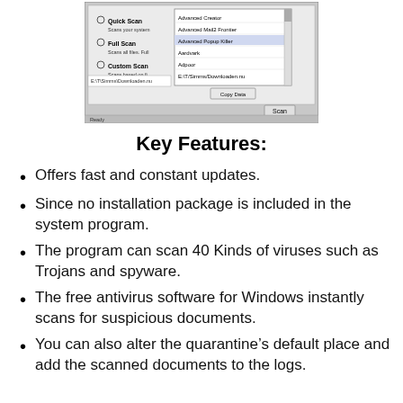[Figure (screenshot): A software antivirus scan window showing Quick Scan, Full Scan, Custom Scan options and a list of file paths including Advanced Creator, Advanced Mail2 Frontier, Advanced Popup Killer, Aardvark, Adpoor, and a path in E drive. Has Copy Data and Scan buttons.]
Key Features:
Offers fast and constant updates.
Since no installation package is included in the system program.
The program can scan 40 Kinds of viruses such as Trojans and spyware.
The free antivirus software for Windows instantly scans for suspicious documents.
You can also alter the quarantine’s default place and add the scanned documents to the logs.